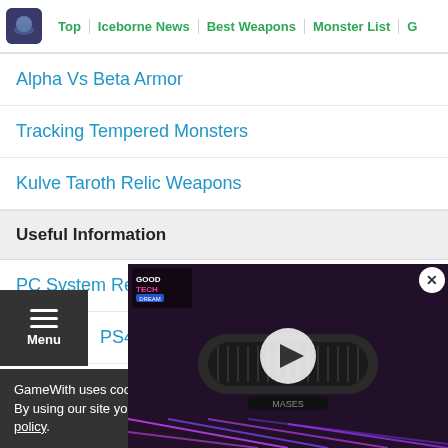Top | Iceborne News | Best Weapons | Monster List
Alpha Vs Beta Armor
Tracking Tempered Monsters
Kulve Taroth Relic Weapons
Useful Information
PC System Requirements
PS4 Control Map
Settings
Best Peripherals
[Figure (screenshot): Video player overlay showing a webcam product video with a play button, with a GoodTech branding overlay, and an X close button in the top right corner.]
GameWith uses cookies and IP a... By using our site you agree to ou... policy.